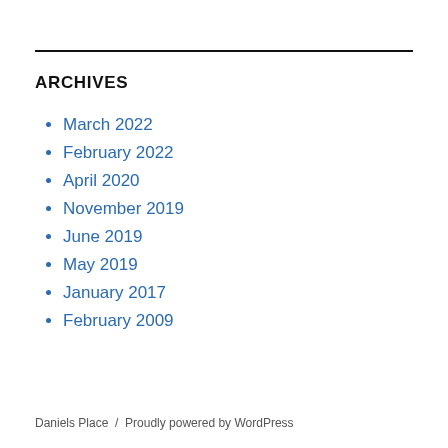ARCHIVES
March 2022
February 2022
April 2020
November 2019
June 2019
May 2019
January 2017
February 2009
Daniels Place  /  Proudly powered by WordPress